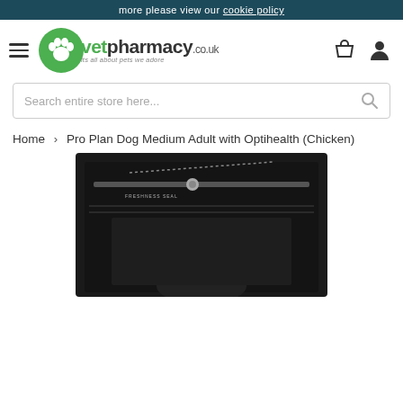more please view our cookie policy
[Figure (logo): vetpharmacy.co.uk logo with green paw icon and tagline 'its all about pets we adore']
Search entire store here...
Home > Pro Plan Dog Medium Adult with Optihealth (Chicken)
[Figure (photo): Product image showing a dark/black dog food bag with freshness seal zipper at the top]